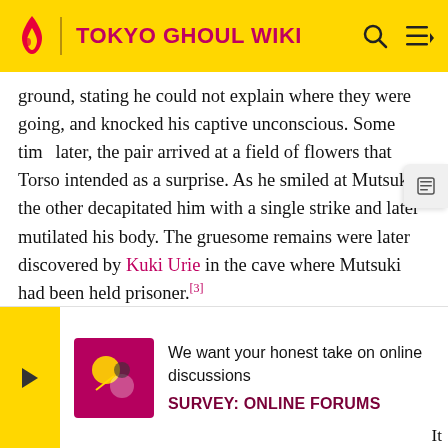TOKYO GHOUL WIKI
ground, stating he could not explain where they were going, and knocked his captive unconscious. Some time later, the pair arrived at a field of flowers that Torso intended as a surprise. As he smiled at Mutsuki, the other decapitated him with a single strike and later mutilated his body. The gruesome remains were later discovered by Kuki Urie in the cave where Mutsuki had been held prisoner.[3]
A report submitted by second class Shigeru Yamakita reads that Karao Saeki, also known as Torso, died as a result of his head and limbs being severed. His limbs were foun much appea It
We want your honest take on online discussions
SURVEY: ONLINE FORUMS